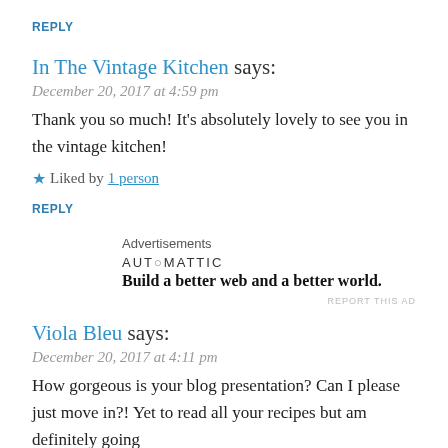REPLY
In The Vintage Kitchen says:
December 20, 2017 at 4:59 pm
Thank you so much! It’s absolutely lovely to see you in the vintage kitchen!
★ Liked by 1 person
REPLY
Advertisements
[Figure (logo): Automattic logo and tagline: Build a better web and a better world.]
REPORT THIS AD
Viola Bleu says:
December 20, 2017 at 4:11 pm
How gorgeous is your blog presentation? Can I please just move in?! Yet to read all your recipes but am definitely going